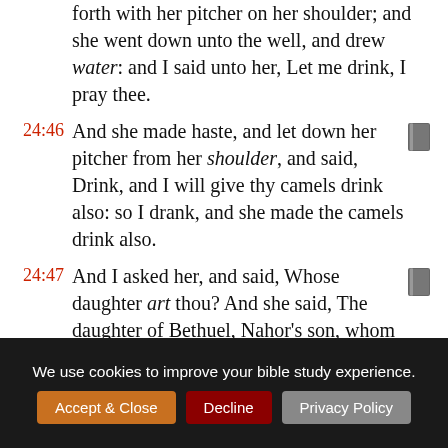forth with her pitcher on her shoulder; and she went down unto the well, and drew water: and I said unto her, Let me drink, I pray thee.
24:46 And she made haste, and let down her pitcher from her shoulder, and said, Drink, and I will give thy camels drink also: so I drank, and she made the camels drink also.
24:47 And I asked her, and said, Whose daughter art thou? And she said, The daughter of Bethuel, Nahor's son, whom Milcah bare unto him:
We use cookies to improve your bible study experience.